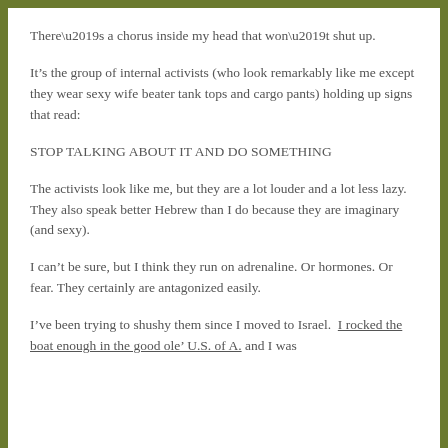There’s a chorus inside my head that won’t shut up.
It’s the group of internal activists (who look remarkably like me except they wear sexy wife beater tank tops and cargo pants) holding up signs that read:
STOP TALKING ABOUT IT AND DO SOMETHING
The activists look like me, but they are a lot louder and a lot less lazy. They also speak better Hebrew than I do because they are imaginary (and sexy).
I can’t be sure, but I think they run on adrenaline. Or hormones. Or fear. They certainly are antagonized easily.
I’ve been trying to shushy them since I moved to Israel. I rocked the boat enough in the good ole’ U.S. of A. and I was